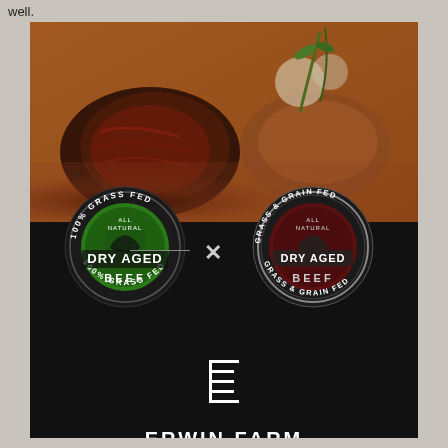well.
[Figure (photo): Advertisement image for Erwin Farm and Ranch featuring cooked beef/steak on a wooden board in the top half, and two circular dry aged beef badges on a black background in the bottom half. Left badge: 100% Grass Fed All Natural Dry Aged Beef (green). Right badge: Grass & Grain Fed All Natural Dry Aged Beef (dark red/silver). An X symbol connects them. Below is the Erwin Farm and Ranch logo with a stylized E symbol.]